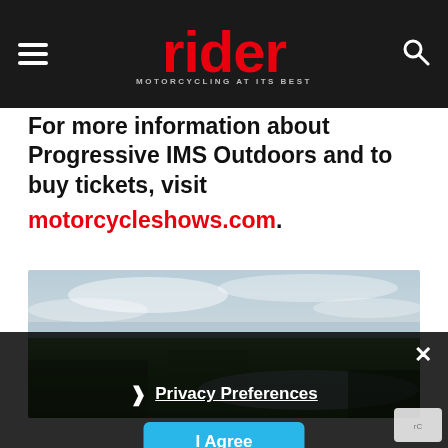rider — MOTORCYCLING AT ITS BEST
For more information about Progressive IMS Outdoors and to buy tickets, visit motorcycleshows.com.
[Figure (photo): Aerial photograph showing a coastal landscape with green fields, tidal mudflats, and a large estuary or bay under a cloudy sky.]
Privacy Preferences  I Agree